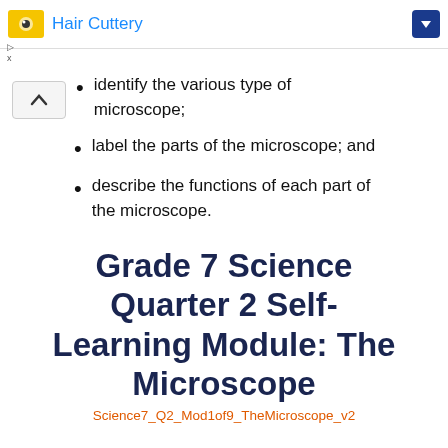Hair Cuttery
identify the various type of microscope;
label the parts of the microscope; and
describe the functions of each part of the microscope.
Grade 7 Science Quarter 2 Self-Learning Module: The Microscope
Science7_Q2_Mod1of9_TheMicroscope_v2